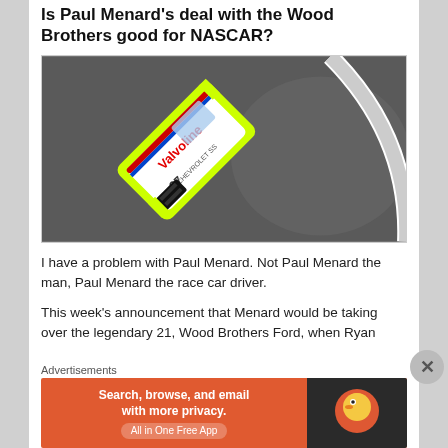Is Paul Menard's deal with the Wood Brothers good for NASCAR?
[Figure (photo): Aerial/overhead view of a white and neon yellow NASCAR race car with Valvoline sponsorship (number 27 Chevrolet) on a racing track, taken from above at an angle.]
I have a problem with Paul Menard. Not Paul Menard the man, Paul Menard the race car driver.
This week's announcement that Menard would be taking over the legendary 21, Wood Brothers Ford, when Ryan
Advertisements
[Figure (screenshot): DuckDuckGo advertisement banner. Orange background with text: 'Search, browse, and email with more privacy. All in One Free App'. Right side shows DuckDuckGo duck logo on dark background.]